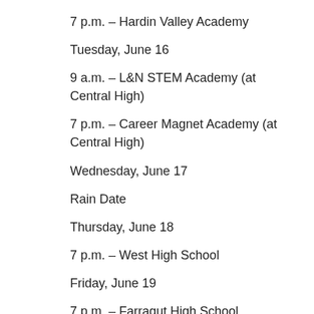7 p.m. – Hardin Valley Academy
Tuesday, June 16
9 a.m. – L&N STEM Academy (at Central High)
7 p.m. – Career Magnet Academy (at Central High)
Wednesday, June 17
Rain Date
Thursday, June 18
7 p.m. – West High School
Friday, June 19
7 p.m. – Farragut High School
Saturday, June 20